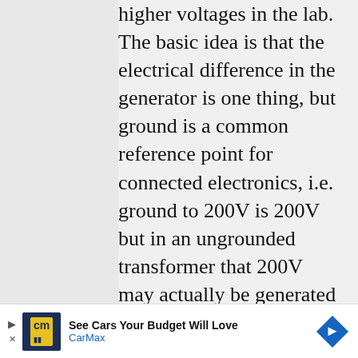classes when working with higher voltages in the lab. The basic idea is that the electrical difference in the generator is one thing, but ground is a common reference point for connected electronics, i.e. ground to 200V is 200V but in an ungrounded transformer that 200V may actually be generated as -110V to +90V relative to ground. It's not necessarily that exact range, but the idea is if you get
[Figure (other): Advertisement banner for CarMax: 'See Cars Your Budget Will Love' with CarMax logo and directional arrow icon]